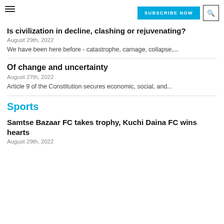SUBSCRIBE NOW | search
Is civilization in decline, clashing or rejuvenating?
August 29th, 2022
We have been here before - catastrophe, carnage, collapse,...
Of change and uncertainty
August 27th, 2022
Article 9 of the Constitution secures economic, social, and...
Sports
Samtse Bazaar FC takes trophy, Kuchi Daina FC wins hearts
August 29th, 2022